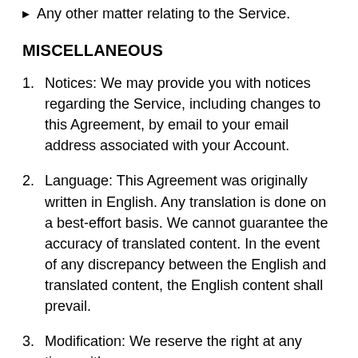Any other matter relating to the Service.
MISCELLANEOUS
Notices: We may provide you with notices regarding the Service, including changes to this Agreement, by email to your email address associated with your Account.
Language: This Agreement was originally written in English. Any translation is done on a best-effort basis. We cannot guarantee the accuracy of translated content. In the event of any discrepancy between the English and translated content, the English content shall prevail.
Modification: We reserve the right at any time, with